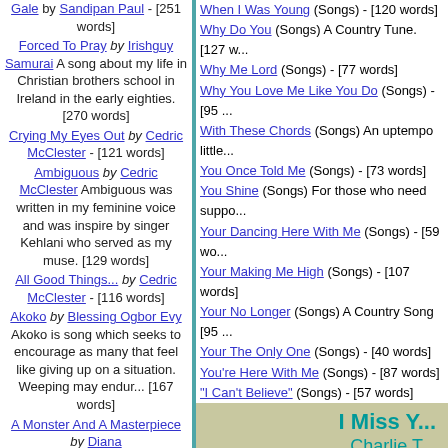Gale by Sandipan Paul - [251 words]
Forced To Pray by Irishguy Samurai A song about my life in Christian brothers school in Ireland in the early eighties. [270 words]
Crying My Eyes Out by Cedric McClester - [121 words]
Ambiguous by Cedric McClester Ambiguous was written in my feminine voice and was inspire by singer Kehlani who served as my muse. [129 words]
All Good Things... by Cedric McClester - [116 words]
Akoko by Blessing Ogbor Evy Akoko is song which seeks to encourage as many that feel like giving up on a situation. Weeping may endur... [167 words]
A Monster And A Masterpiece by Diana
When I Was Young (Songs) - [120 words]
Why Do You (Songs) A Country Tune. [127 w...
Why Me Lord (Songs) - [77 words]
Why You Love Me Like You Do (Songs) - [95 ...
With These Chords (Songs) An uptempo little...
You Once Told Me (Songs) - [73 words]
You Shine (Songs) For those who need suppo...
Your Dancing Here With Me (Songs) - [59 wo...
Your Making Me High (Songs) - [107 words]
Your No Longer (Songs) A Country Song [95 ...
Your The Only One (Songs) - [40 words]
You're Here With Me (Songs) - [87 words]
"I Can't Believe" (Songs) - [57 words]
I Miss Y...
Charlie T...
A DIFFERENT TIME
ANOTHER YEAR
WATCHING RAINDROPS FALL
AS RAINBOWS APPEAR
LIKE THE COLOR IN YOUR EYES
I MISS YOU HERE

I CLOSE MY EYES
I WISH YOU WERE HERE